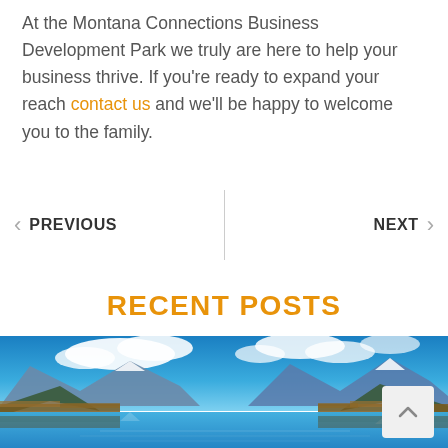At the Montana Connections Business Development Park we truly are here to help your business thrive. If you're ready to expand your reach contact us and we'll be happy to welcome you to the family.
PREVIOUS   |   NEXT
RECENT POSTS
[Figure (photo): Panoramic photo of a mountain lake with blue sky, clouds, snow-capped mountains, autumn trees, and reflections on calm water.]